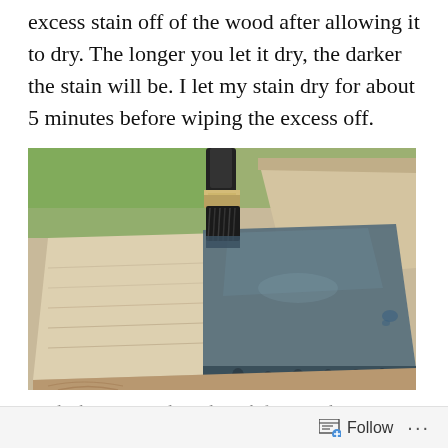excess stain off of the wood after allowing it to dry. The longer you let it dry, the darker the stain will be. I let my stain dry for about 5 minutes before wiping the excess off.
[Figure (photo): A paintbrush applying dark blue/grey stain to a light wood board. The left half of the board is unstained natural wood, the right half has dark stain applied. The brush is at the top center applying the stain. Background shows grass and another wood board.]
Apply the stain evenly, and watch for extra drops or pooling.
Follow ...